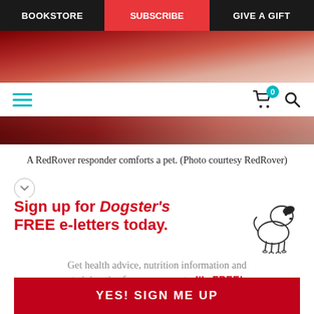BOOKSTORE | SUBSCRIBE | GIVE A GIFT
[Figure (photo): Photo strip showing a RedRover responder in red clothing comforting a pet]
[Figure (infographic): Secondary navigation bar with hamburger menu (teal), shopping cart icon with badge showing 0, and search icon]
A RedRover responder comforts a pet. (Photo courtesy RedRover)
Sign up for Dogster's FREE e-letters today.
Get health advice, nutrition information and training tips from our experts. It's FREE!
Enter your Email
YES! SIGN ME UP